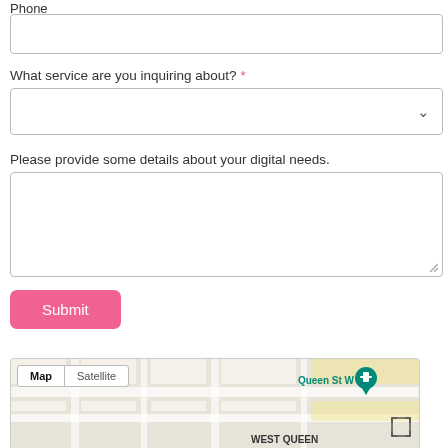Phone
What service are you inquiring about? *
Please provide some details about your digital needs.
Submit
[Figure (screenshot): Google Maps snippet showing Queen St W with Map and Satellite tabs, a teal location pin, and a fullscreen expand icon. WEST QUEEN text visible at bottom.]